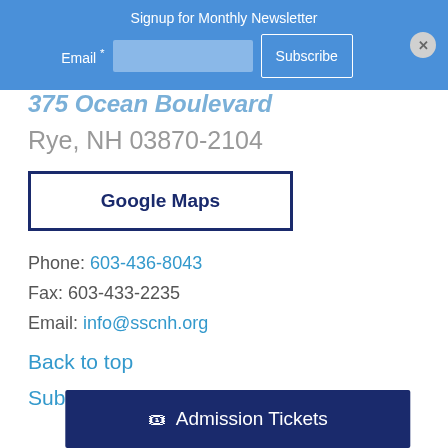Signup for Monthly Newsletter
Email * [input] Subscribe [×]
375 Ocean Boulevard
Rye, NH 03870-2104
Google Maps
Phone: 603-436-8043
Fax: 603-433-2235
Email: info@sscnh.org
Back to top
Sub
🎟 Admission Tickets